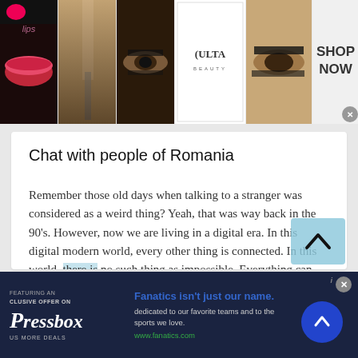[Figure (photo): Top banner advertisement for ULTA Beauty showing collage of makeup/beauty photos: red lips, makeup brush, smoky eye, ULTA logo, eye with dramatic makeup, and 'SHOP NOW' text with close button.]
Chat with people of Romania
Remember those old days when talking to a stranger was considered as a weird thing? Yeah, that was way back in the 90's. However, now we are living in a digital era. In this digital modern world, every other thing is connected. In this world, there is no such thing as impossible. Everything can happen.
[Figure (screenshot): Scroll-to-top button overlay: blue-tinted box with upward chevron arrow icon.]
[Figure (photo): Bottom advertisement bar for Fanatics/Pressbox: dark navy background with Pressbox logo on left, 'Fanatics isn't just our name.' headline in blue, subtext and www.fanatics.com URL, blue circular arrow button on right, close X button.]
Fanatics isn't just our name. dedicated to our favorite teams and to the sports we love. www.fanatics.com